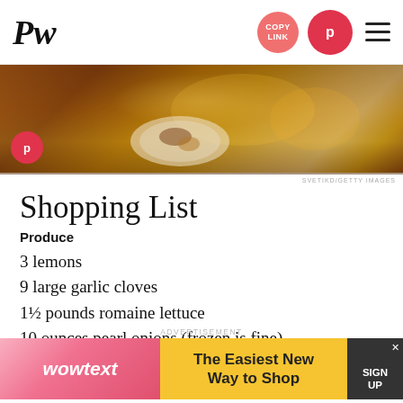PW — COPY LINK [pinterest button] [menu]
[Figure (photo): Warm candlelit dinner table scene with plates of food, wine glasses, and atmospheric lighting — SVETIKD/GETTY IMAGES]
SVETIKD/GETTY IMAGES
Shopping List
Produce
3 lemons
9 large garlic cloves
1½ pounds romaine lettuce
10 ounces pearl onions (frozen is fine)
6 celery stalks
8 ounces kale
1 red onion
1 pint cremini mushrooms
2 sw[eet potatoes — partially obscured]
3 car[rots — partially obscured]